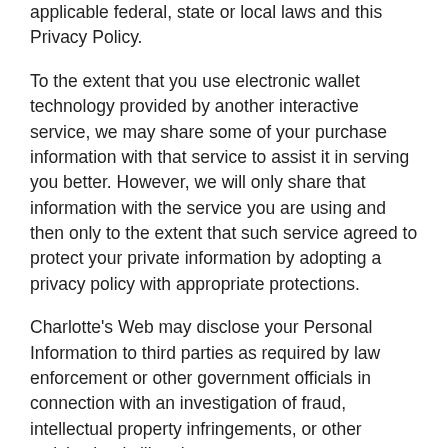applicable federal, state or local laws and this Privacy Policy.
To the extent that you use electronic wallet technology provided by another interactive service, we may share some of your purchase information with that service to assist it in serving you better. However, we will only share that information with the service you are using and then only to the extent that such service agreed to protect your private information by adopting a privacy policy with appropriate protections.
Charlotte's Web may disclose your Personal Information to third parties as required by law enforcement or other government officials in connection with an investigation of fraud, intellectual property infringements, or other activity that is illegal or may expose you or Charlotte's Web to legal liability. Charlotte's Web may also disclose your Personal Information to third parties when Charlotte's Web has a reason to believe that a disclosure is necessary to address potential or actual injury or interference with Charlotte's Web's rights, property, operations, users, or others who may